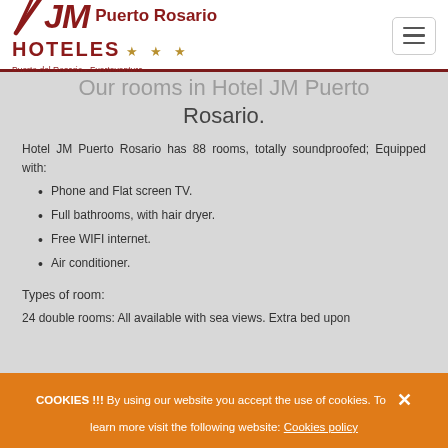[Figure (logo): JM Hoteles Puerto Rosario logo with stylized JM text, three gold stars, and tagline 'Puerto del Rosario - Fuerteventura']
Our rooms in Hotel JM Puerto Rosario.
Hotel JM Puerto Rosario has 88 rooms, totally soundproofed; Equipped with:
Phone and Flat screen TV.
Full bathrooms, with hair dryer.
Free WIFI internet.
Air conditioner.
Types of room:
24 double rooms: All available with sea views. Extra bed upon
COOKIES !!! By using our website you accept the use of cookies. To learn more visit the following website: Cookies policy